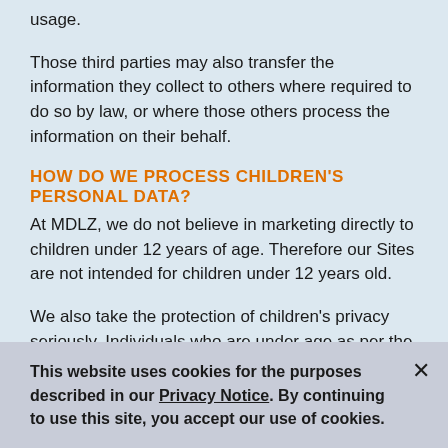usage.
Those third parties may also transfer the information they collect to others where required to do so by law, or where those others process the information on their behalf.
HOW DO WE PROCESS CHILDREN'S PERSONAL DATA?
At MDLZ, we do not believe in marketing directly to children under 12 years of age. Therefore our Sites are not intended for children under 12 years old.
We also take the protection of children's privacy seriously. Individuals who are under age as per the appropriate applicable law for each Site for the purpose of providing consent, should have a parent/guardian's
This website uses cookies for the purposes described in our Privacy Notice. By continuing to use this site, you accept our use of cookies.